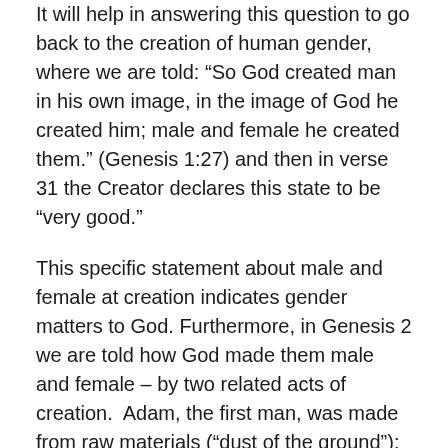It will help in answering this question to go back to the creation of human gender, where we are told: “So God created man in his own image, in the image of God he created him; male and female he created them.” (Genesis 1:27) and then in verse 31 the Creator declares this state to be “very good.”
This specific statement about male and female at creation indicates gender matters to God. Furthermore, in Genesis 2 we are told how God made them male and female – by two related acts of creation. Adam, the first man, was made from raw materials (“dust of the ground”); Eve, the first woman, was made from tissue taken from Adam which is why the Bible also regards male and female as “one flesh.” So from the start, gender was built into our biology, and God liked it that way.
For all succeeding generations down to you and I, gender